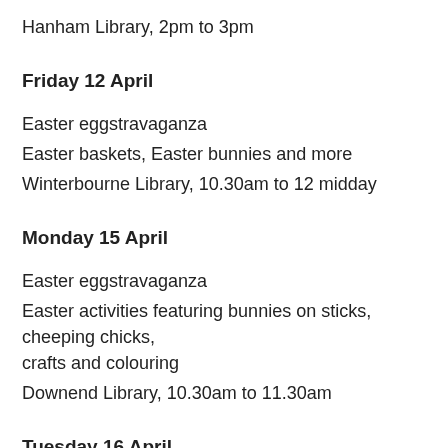Hanham Library, 2pm to 3pm
Friday 12 April
Easter eggstravaganza
Easter baskets, Easter bunnies and more
Winterbourne Library, 10.30am to 12 midday
Monday 15 April
Easter eggstravaganza
Easter activities featuring bunnies on sticks, cheeping chicks, crafts and colouring
Downend Library, 10.30am to 11.30am
Tuesday 16 April
Easter eggstravaganza